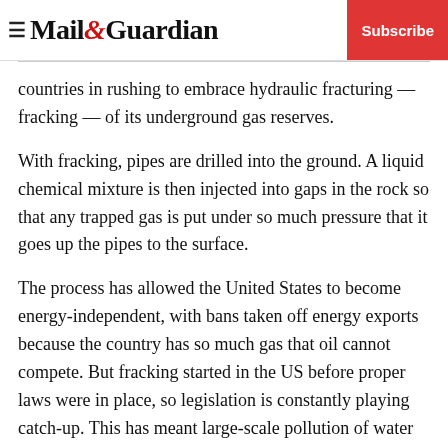Mail&Guardian — Subscribe
countries in rushing to embrace hydraulic fracturing — fracking — of its underground gas reserves.
With fracking, pipes are drilled into the ground. A liquid chemical mixture is then injected into gaps in the rock so that any trapped gas is put under so much pressure that it goes up the pipes to the surface.
The process has allowed the United States to become energy-independent, with bans taken off energy exports because the country has so much gas that oil cannot compete. But fracking started in the US before proper laws were in place, so legislation is constantly playing catch-up. This has meant large-scale pollution of water resources and gas leaks, including methane, near drilling sites.